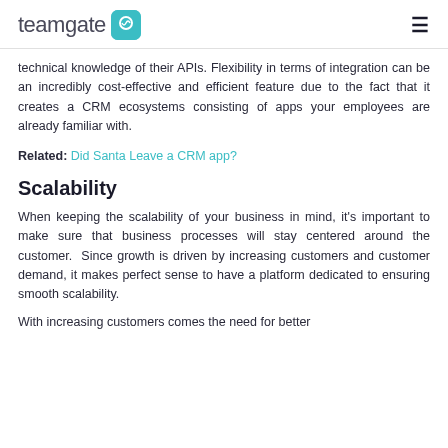teamgate [logo]
technical knowledge of their APIs. Flexibility in terms of integration can be an incredibly cost-effective and efficient feature due to the fact that it creates a CRM ecosystems consisting of apps your employees are already familiar with.
Related: Did Santa Leave a CRM app?
Scalability
When keeping the scalability of your business in mind, it's important to make sure that business processes will stay centered around the customer.  Since growth is driven by increasing customers and customer demand, it makes perfect sense to have a platform dedicated to ensuring smooth scalability.
With increasing customers comes the need for better